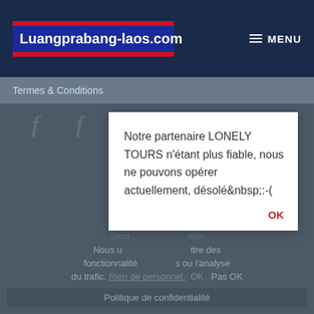[Figure (logo): Luangprabang-laos.com website logo with red, white and blue Laos flag colors, white text on dark blue background with red stripes top and bottom]
≡ MENU
Termes & Conditions
[Figure (illustration): Three Facebook 'f' icons in gray]
Notre partenaire LONELY TOURS n'étant plus fiable, nous ne pouvons opérer actuellement, désolé&nbsp;:-(
OK
Nous utilisons des cookies pour permettre le bon fonctionnement et la sécurisation de notre site, et afin de personnaliser son contenu, maintenir votre session, améliorer votre expérience utilisateur et recueillir des statistiques sur son utilisation. Pour en savoir plus, veuillez consulter notre Politique de confidentialité. Rien de personnel. OK Pas OK
Politique de confidentialité